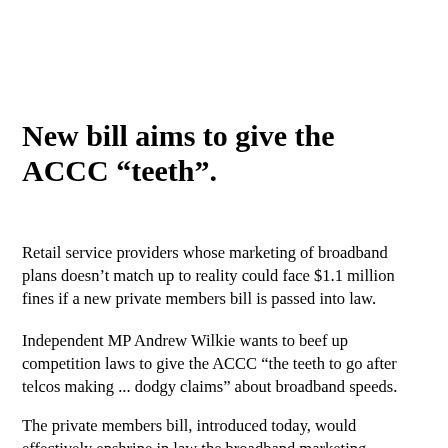New bill aims to give the ACCC "teeth".
Retail service providers whose marketing of broadband plans doesn't match up to reality could face $1.1 million fines if a new private members bill is passed into law.
Independent MP Andrew Wilkie wants to beef up competition laws to give the ACCC “the teeth to go after telcos making ... dodgy claims” about broadband speeds.
The private members bill, introduced today, would effectively enshrine in law the broadband marketing guidelines the ACCC created in August last year.